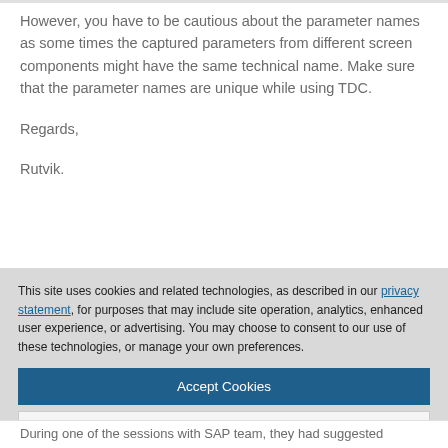However, you have to be cautious about the parameter names as some times the captured parameters from different screen components might have the same technical name. Make sure that the parameter names are unique while using TDC.
Regards,
Rutvik.
This site uses cookies and related technologies, as described in our privacy statement, for purposes that may include site operation, analytics, enhanced user experience, or advertising. You may choose to consent to our use of these technologies, or manage your own preferences.
Accept Cookies
More Information
Privacy Policy | Powered by: TrustArc
During one of the sessions with SAP team, they had suggested